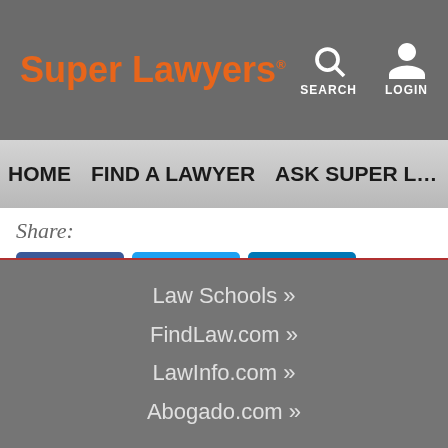Super Lawyers® | SEARCH | LOGIN
HOME   FIND A LAWYER   ASK SUPER L…
Share:
[Figure (logo): Social share buttons: Facebook, Twitter, LinkedIn]
Law Schools »
FindLaw.com »
LawInfo.com »
Abogado.com »